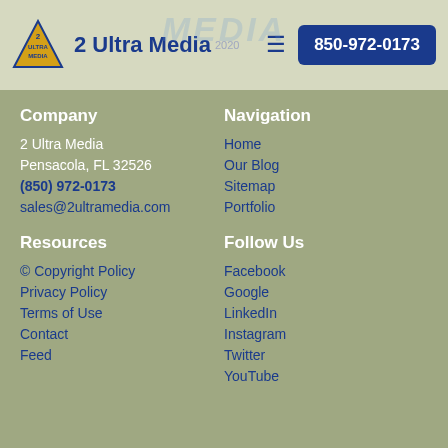2 Ultra Media | 850-972-0173
Company
2 Ultra Media
Pensacola, FL 32526
(850) 972-0173
sales@2ultramedia.com
Navigation
Home
Our Blog
Sitemap
Portfolio
Resources
© Copyright Policy
Privacy Policy
Terms of Use
Contact
Feed
Follow Us
Facebook
Google
LinkedIn
Instagram
Twitter
YouTube